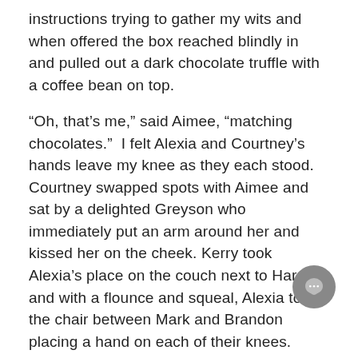instructions trying to gather my wits and when offered the box reached blindly in and pulled out a dark chocolate truffle with a coffee bean on top.
“Oh, that’s me,” said Aimee, “matching chocolates.”  I felt Alexia and Courtney’s hands leave my knee as they each stood. Courtney swapped spots with Aimee and sat by a delighted Greyson who immediately put an arm around her and kissed her on the cheek. Kerry took Alexia’s place on the couch next to Harris and with a flounce and squeal, Alexia took the chair between Mark and Brandon placing a hand on each of their knees.
“Ok, now would each of you feed your chocolate to your new seat partner,” Bra said while demonstrating with Alexia.  Alexia